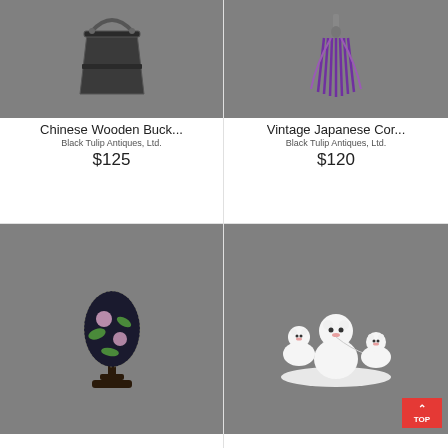[Figure (photo): Chinese wooden bucket, dark metal/wood, antique, on gray background]
Chinese Wooden Buck...
Black Tulip Antiques, Ltd.
$125
[Figure (photo): Vintage Japanese cord/tassel ornament in purple, on gray background]
Vintage Japanese Cor...
Black Tulip Antiques, Ltd.
$120
[Figure (photo): Cloisonne decorative egg with floral pattern on dark background, mounted on stand]
[Figure (photo): White ceramic polar bear family figurine group, three bears on white base]